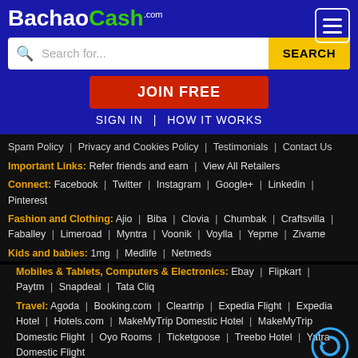[Figure (logo): BachaoCash.com logo in white and green on blue background]
[Figure (other): Hamburger menu button, white lines on bordered square]
Search for...
SEARCH
JOIN FREE
SIGN IN | HOW IT WORKS
Spam Policy | Privacy and Cookies Policy | Testimonials | Contact Us
Important Links: Refer friends and earn | View All Retailers
Connect: Facebook | Twitter | Instagram | Google+ | Linkedin | Pinterest
Fashion and Clothing: Ajio | Biba | Clovia | Chumbak | Craftsvilla | Faballey | Limeroad | Myntra | Voonik | Voylla | Yepme | Zivame
Kids and babies: 1mg | Medlife | Netmeds
Mobiles & Tablets, Computers & Electronics: Ebay | Flipkart | Paytm | Snapdeal | Tata Cliq
Travel: Agoda | Booking.com | Cleartrip | Expedia Flight | Expedia Hotel | Hotels.com | MakeMyTrip Domestic Hotel | MakeMyTrip Domestic Flight | Oyo Rooms | Ticketgoose | Treebo Hotel | Yatra Domestic Flight
Home Furnishing: Fabfurnish | Pepperfry | SherGil
[Figure (logo): Back to Top circular arrow logo button]